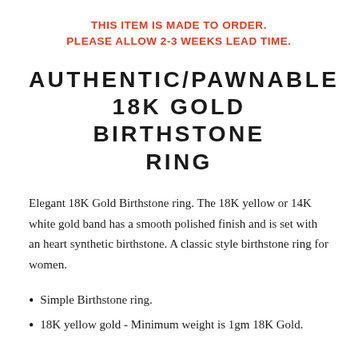THIS ITEM IS MADE TO ORDER. PLEASE ALLOW 2-3 WEEKS LEAD TIME.
AUTHENTIC/PAWNABLE 18K GOLD BIRTHSTONE RING
Elegant 18K Gold Birthstone ring. The 18K yellow or 14K white gold band has a smooth polished finish and is set with an heart synthetic birthstone. A classic style birthstone ring for women.
Simple Birthstone ring.
18K yellow gold - Minimum weight is 1gm 18K Gold.